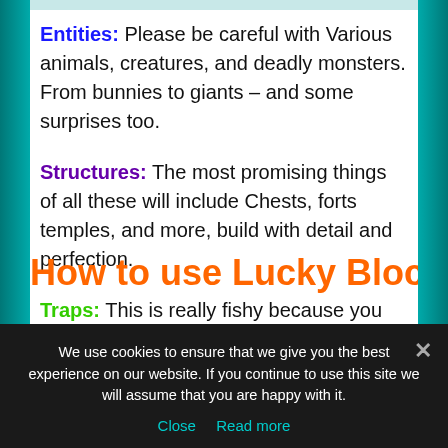Entities: Please be careful with Various animals, creatures, and deadly monsters. From bunnies to giants – and some surprises too.
Structures: The most promising things of all these will include Chests, forts temples, and more, build with detail and perfection.
Traps: This is really fishy because you can get water, lava, anvils and other dangers lurk.
Surprises: The fun element is the surprise. You can expect the unexpected.
How to use Lucky Block
We use cookies to ensure that we give you the best experience on our website. If you continue to use this site we will assume that you are happy with it.
Close   Read more